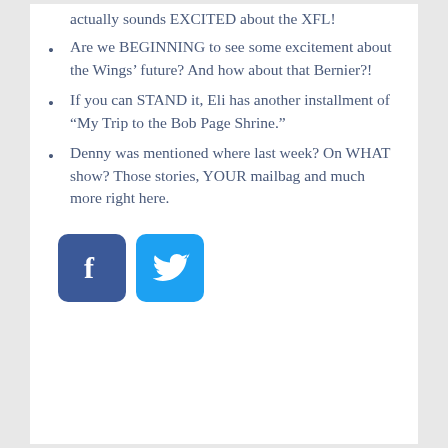actually sounds EXCITED about the XFL!
Are we BEGINNING to see some excitement about the Wings’ future? And how about that Bernier?!
If you can STAND it, Eli has another installment of “My Trip to the Bob Page Shrine.”
Denny was mentioned where last week? On WHAT show? Those stories, YOUR mailbag and much more right here.
[Figure (logo): Facebook and Twitter social media icon buttons]